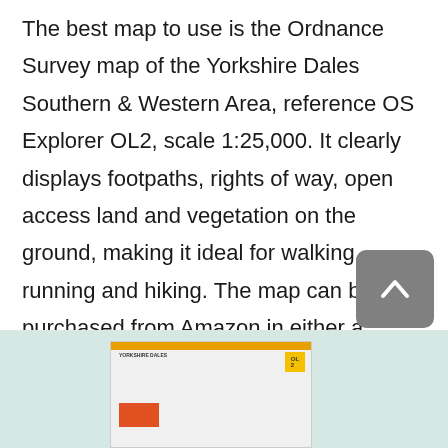The best map to use is the Ordnance Survey map of the Yorkshire Dales Southern & Western Area, reference OS Explorer OL2, scale 1:25,000. It clearly displays footpaths, rights of way, open access land and vegetation on the ground, making it ideal for walking, running and hiking. The map can be purchased from Amazon in either a standard, paper version or a weatherproof, laminated version, as shown below.
[Figure (photo): Partial view of an Ordnance Survey map book for Yorkshire Dales, shown against a light teal/green background. A grey back-to-top button with a chevron/arrow is visible in the upper right of this section.]